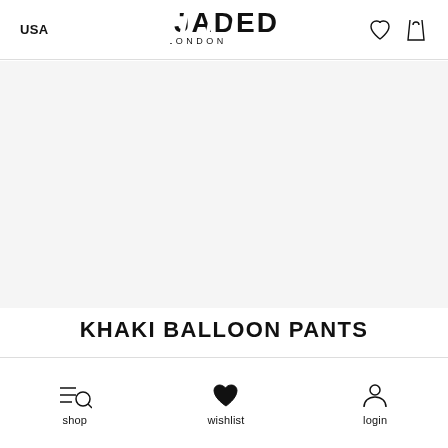USA  JADED LONDON
[Figure (other): Large product image area (white/light grey background, product not visible)]
KHAKI BALLOON PANTS
shop  wishlist  login